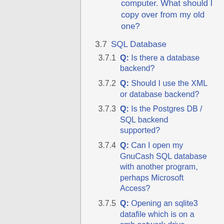computer. What should I copy over from my old one?
3.7 SQL Database
3.7.1 Q: Is there a database backend?
3.7.2 Q: Should I use the XML or database backend?
3.7.3 Q: Is the Postgres DB / SQL backend supported?
3.7.4 Q: Can I open my GnuCash SQL database with another program, perhaps Microsoft Access?
3.7.5 Q: Opening an sqlite3 datafile which is on a smb network drive crashes GnuCash
3.7.6 Q: Saving to sqlite3 on a